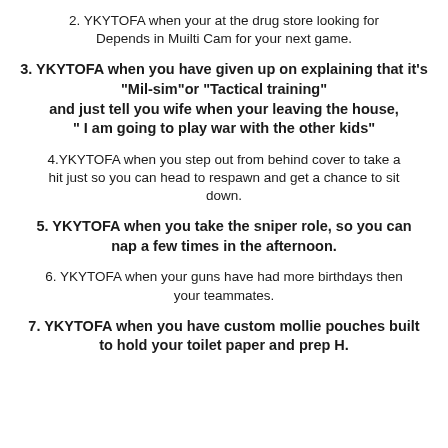2. YKYTOFA when your at the drug store looking for Depends in Muilti Cam for your next game.
3. YKYTOFA when you have given up on explaining that it's "Mil-sim"or "Tactical training" and just tell you wife when your leaving the house, " I am going to play war with the other kids"
4.YKYTOFA when you step out from behind cover to take a hit just so you can head to respawn and get a chance to sit down.
5. YKYTOFA when you take the sniper role, so you can nap a few times in the afternoon.
6. YKYTOFA when your guns have had more birthdays then your teammates.
7. YKYTOFA when you have custom mollie pouches built to hold your toilet paper and prep H.